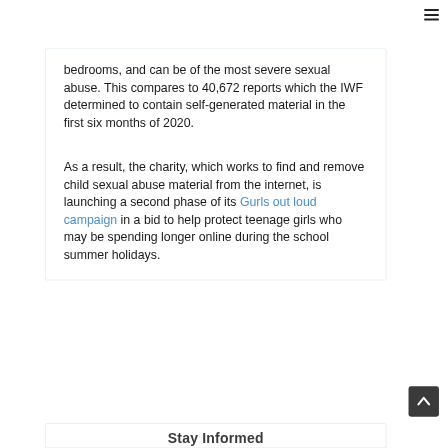bedrooms, and can be of the most severe sexual abuse. This compares to 40,672 reports which the IWF determined to contain self-generated material in the first six months of 2020.
As a result, the charity, which works to find and remove child sexual abuse material from the internet, is launching a second phase of its Gurls out loud campaign in a bid to help protect teenage girls who may be spending longer online during the school summer holidays.
Stay Informed